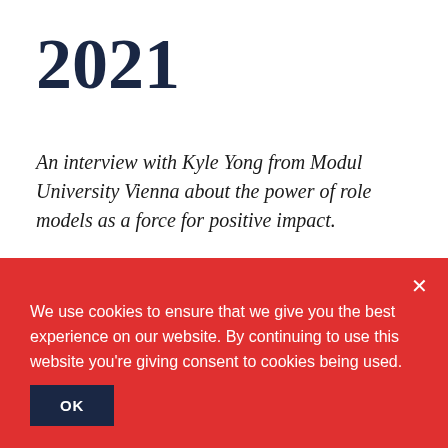2021
An interview with Kyle Yong from Modul University Vienna about the power of role models as a force for positive impact.
Impact is not something we can achieve in isolation. As the
We use cookies to ensure that we give you the best experience on our website. By continuing to use this website you're giving consent to cookies being used.
OK